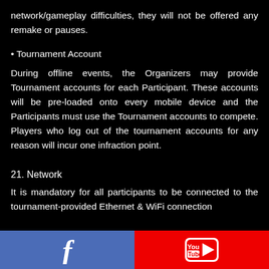network/gameplay difficulties, they will not be offered any remake or pauses.
• Tournament Account
During offline events, the Organizers may provide Tournament accounts for each Participant. These accounts will be pre-loaded onto every mobile device and the Participants must use the Tournament accounts to compete. Players who log out of the tournament accounts for any reason will incur one infraction point.
21. Network
It is mandatory for all participants to be connected to the tournament-provided Ethernet & WiFi connection
[Figure (logo): Facebook logo icon in blue bar]
[Figure (logo): YouTube logo icon in red bar]